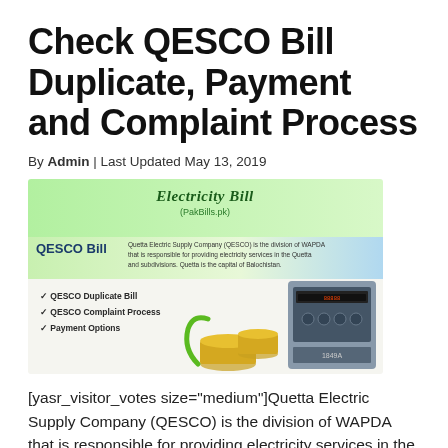Check QESCO Bill Duplicate, Payment and Complaint Process
By Admin | Last Updated May 13, 2019
[Figure (infographic): QESCO Bill infographic banner showing 'Electricity Bill (PakBills.pk)' header with green gradient, QESCO Bill description text, checklist of QESCO Duplicate Bill, QESCO Complaint Process, Payment Options, alongside images of coins with plant sprouts and an electricity meter.]
[yasr_visitor_votes size="medium"]Quetta Electric Supply Company (QESCO) is the division of WAPDA that is responsible for providing electricity services in the